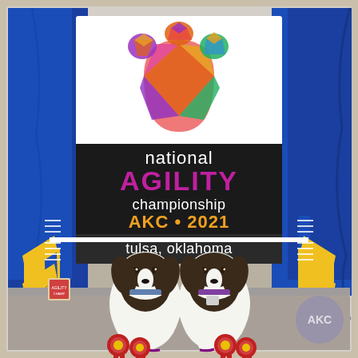[Figure (photo): Two black and white English Springer Spaniels sitting in front of a large sign for the AKC National Agility Championship 2021 in Tulsa, Oklahoma. The sign features a colorful geometric paw print logo. The dogs are posed in front of a blue agility jump frame with yellow accents. Red ribbon rosettes are placed on the floor in front of the dogs. The background shows a beige/tan brick wall with blue draping fabric.]